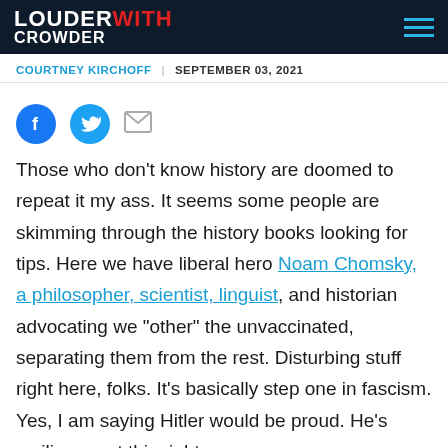LOUDER WITH CROWDER
COURTNEY KIRCHOFF | SEPTEMBER 03, 2021
[Figure (infographic): Social share icons: Facebook (blue circle), Twitter (blue circle), Email (grey envelope)]
Those who don't know history are doomed to repeat it my ass. It seems some people are skimming through the history books looking for tips. Here we have liberal hero Noam Chomsky, a philosopher, scientist, linguist, and historian advocating we "other" the unvaccinated, separating them from the rest. Disturbing stuff right here, folks. It's basically step one in fascism. Yes, I am saying Hitler would be proud. He's smiling up at this right now.